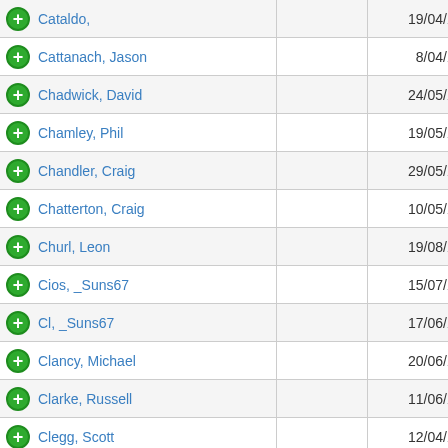| Name |  | Date |
| --- | --- | --- |
| Cataldo, |  | 19/04/1987 |
| Cattanach, Jason |  | 8/04/1984 |
| Chadwick, David |  | 24/05/1970 |
| Chamley, Phil |  | 19/05/1962 |
| Chandler, Craig |  | 29/05/1983 |
| Chatterton, Craig |  | 10/05/1981 |
| Churl, Leon |  | 19/08/1984 |
| Cios, _Suns67 |  | 15/07/1967 |
| Cl, _Suns67 |  | 17/06/1967 |
| Clancy, Michael |  | 20/06/1971 |
| Clarke, Russell |  | 11/06/1966 |
| Clegg, Scott |  | 12/04/1987 |
|  |  |  |